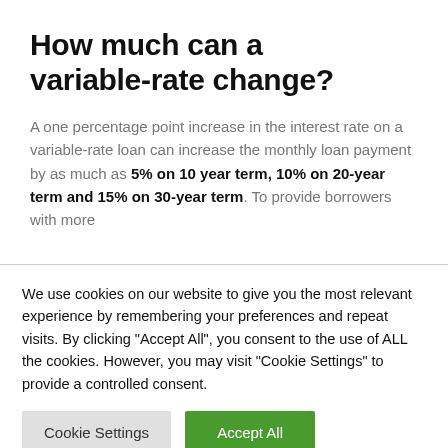How much can a variable-rate change?
A one percentage point increase in the interest rate on a variable-rate loan can increase the monthly loan payment by as much as 5% on 10 year term, 10% on 20-year term and 15% on 30-year term. To provide borrowers with more
We use cookies on our website to give you the most relevant experience by remembering your preferences and repeat visits. By clicking "Accept All", you consent to the use of ALL the cookies. However, you may visit "Cookie Settings" to provide a controlled consent.